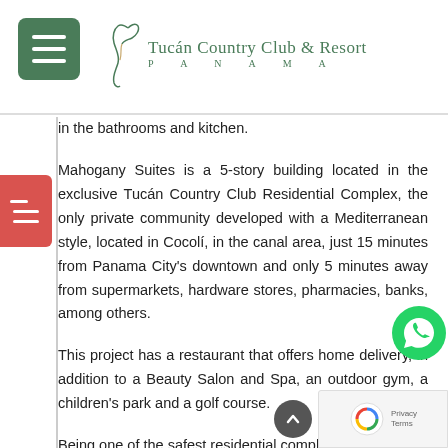Tucán Country Club & Resort PANAMA
in the bathrooms and kitchen.
Mahogany Suites is a 5-story building located in the exclusive Tucán Country Club Residential Complex, the only private community developed with a Mediterranean style, located in Cocolí, in the canal area, just 15 minutes from Panama City's downtown and only 5 minutes away from supermarkets, hardware stores, pharmacies, banks, among others.
This project has a restaurant that offers home delivery, in addition to a Beauty Salon and Spa, an outdoor gym, a children's park and a golf course.
Being one of the safest residential complexes in all of